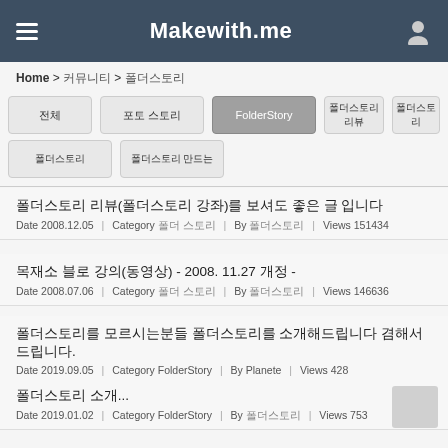Makewith.me
Home > 커뮤니티 > 폴더스토리
전체
포토 스토리
FolderStory
폴더스토리 리뷰
폴더스토리
폴더스토리
폴더스토리 만드는
폴더스토리 리뷰(폴더스토리 강좌)를 보셔도 좋은 글 입니다 Date 2008.12.05 | Category 폴더 스토리 | By 폴더스토리 | Views 151434
목재소 블로 강의(동영상) - 2008. 11.27 개정 - Date 2008.07.06 | Category 폴더 스토리 | By 폴더스토리 | Views 146636
폴더스토리를 모르시는분들 폴더스토리를 소개해드립니다 겸해서 드립니다. Date 2019.09.05 | Category FolderStory | By Planete | Views 428
폴더스토리 소개... Date 2019.01.02 | Category FolderStory | By 폴더스토리 | Views 753